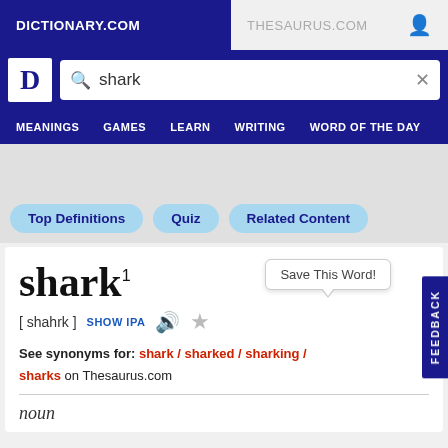DICTIONARY.COM | THESAURUS.COM
[Figure (screenshot): Dictionary.com search bar with word 'shark' entered, logo with D letter, and navigation menu with MEANINGS, GAMES, LEARN, WRITING, WORD OF THE DAY]
Top Definitions  Quiz  Related Content
shark1
[ shahrk ]  SHOW IPA
Save This Word!
See synonyms for: shark / sharked / sharking / sharks on Thesaurus.com
noun